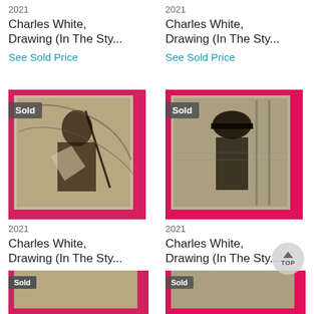2021
Charles White, Drawing (In The Sty...
See Sold Price
2021
Charles White, Drawing (In The Sty...
See Sold Price
[Figure (photo): Artwork photo with red frame showing a figure holding a staff, charcoal drawing style, Sold badge visible]
[Figure (photo): Artwork photo with red/pink frame showing a seated figure with hat, charcoal drawing style, Sold badge visible]
2021
Charles White, Drawing (In The Sty...
See Sold Price
2021
Charles White, Drawing (In The Sty...
See Sold Price
[Figure (photo): Partial view of artwork with red frame at bottom, Sold badge visible]
[Figure (photo): Partial view of artwork at bottom right]